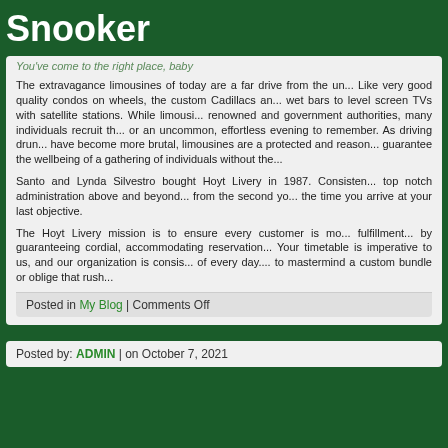Snooker
You've come to the right place, baby
The extravagance limousines of today are a far drive from the un... Like very good quality condos on wheels, the custom Cadillacs an... wet bars to level screen TVs with satellite stations. While limousi... renowned and government authorities, many individuals recruit th... or an uncommon, effortless evening to remember. As driving drun... have become more brutal, limousines are a protected and reason... guarantee the wellbeing of a gathering of individuals without the...
Santo and Lynda Silvestro bought Hoyt Livery in 1987. Consisten... top notch administration above and beyond... from the second yo... the time you arrive at your last objective.
The Hoyt Livery mission is to ensure every customer is mo... fulfillment... by guaranteeing cordial, accommodating reservation... Your timetable is imperative to us, and our organization is consis... of every day.... to mastermind a custom bundle or oblige that rush...
Posted in My Blog | Comments Off
Posted by: ADMIN | on October 7, 2021